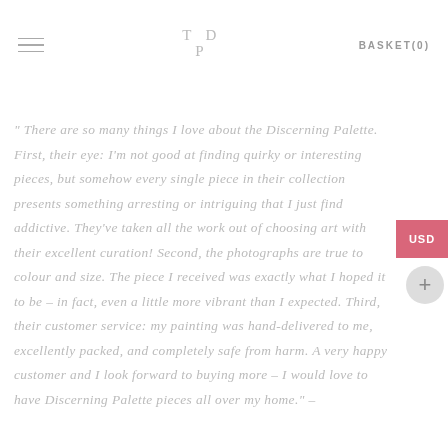TDP  BASKET(0)
" There are so many things I love about the Discerning Palette. First, their eye: I'm not good at finding quirky or interesting pieces, but somehow every single piece in their collection presents something arresting or intriguing that I just find addictive. They've taken all the work out of choosing art with their excellent curation! Second, the photographs are true to colour and size. The piece I received was exactly what I hoped it to be – in fact, even a little more vibrant than I expected. Third, their customer service: my painting was hand-delivered to me, excellently packed, and completely safe from harm. A very happy customer and I look forward to buying more – I would love to have Discerning Palette pieces all over my home." –